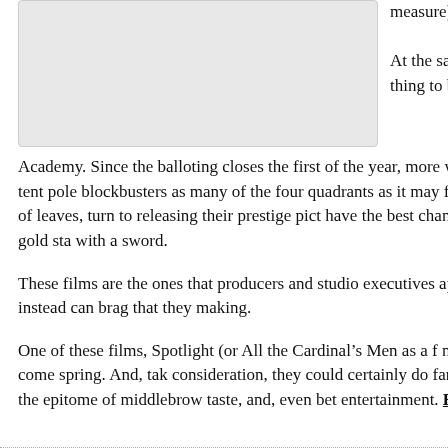[Figure (other): Gray placeholder image box in upper left]
measure).
At the same time thing to be grate Academy. Since the balloting closes the first of the year, more winter leaves behind the cheek of tan, tent pole blockbusters as many of the four quadrants as it may fit) and gives way to changing colors of leaves, turn to releasing their prestige pict have the best chance at garnering the attention of the gold sta with a sword.
These films are the ones that producers and studio executives apologize or make excuses for and instead can brag that they making.
One of these films, Spotlight (or All the Cardinal’s Men as a f now being spoken of as the one to beat come spring. And, tak consideration, they could certainly do far worse, because, how it, Spotlight is the epitome of middlebrow taste, and, even bet entertainment. Read the rest of this entry »